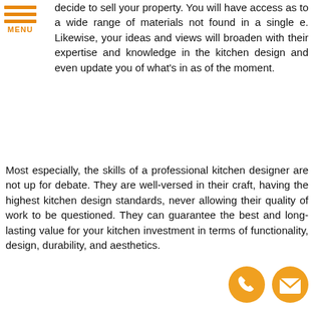[Figure (other): Orange hamburger menu icon with three horizontal bars and 'MENU' label in orange text]
decide to sell your property. You will have access as to a wide range of materials not found in a single e. Likewise, your ideas and views will broaden with their expertise and knowledge in the kitchen design and even update you of what's in as of the moment.
Most especially, the skills of a professional kitchen designer are not up for debate. They are well-versed in their craft, having the highest kitchen design standards, never allowing their quality of work to be questioned. They can guarantee the best and long-lasting value for your kitchen investment in terms of functionality, design, durability, and aesthetics.
[Figure (other): Orange rounded rectangle button with white bold uppercase text: REQUEST A CONSULTATION]
[Figure (other): Red star-burst badge with white text: We're Open Phone/Video Consultations Available]
rvine Kitchen Designer
esigner is involved in choosing the right nd appliances, determining ea ut, wo with plumbers and electrical technicians and
[Figure (other): Orange circle phone icon and orange circle email/envelope icon at bottom right]